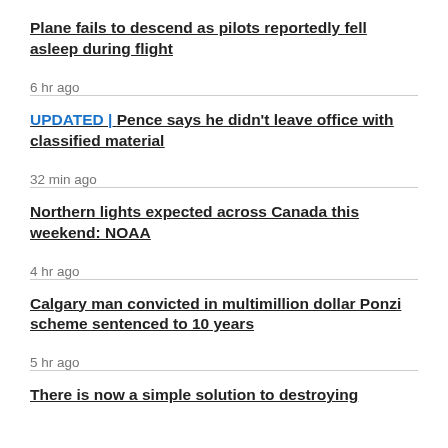Plane fails to descend as pilots reportedly fell asleep during flight
6 hr ago
UPDATED | Pence says he didn't leave office with classified material
32 min ago
Northern lights expected across Canada this weekend: NOAA
4 hr ago
Calgary man convicted in multimillion dollar Ponzi scheme sentenced to 10 years
5 hr ago
There is now a simple solution to destroying